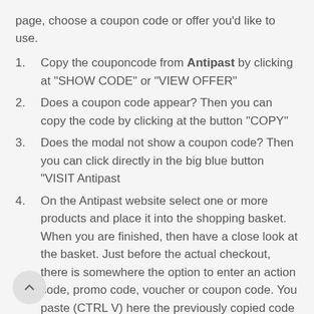page, choose a coupon code or offer you'd like to use.
Copy the couponcode from Antipast by clicking at "SHOW CODE" or "VIEW OFFER"
Does a coupon code appear? Then you can copy the code by clicking at the button "COPY"
Does the modal not show a coupon code? Then you can click directly in the big blue button "VISIT Antipast
On the Antipast website select one or more products and place it into the shopping basket. When you are finished, then have a close look at the basket. Just before the actual checkout, there is somewhere the option to enter an action code, promo code, voucher or coupon code. You paste (CTRL V) here the previously copied code and the discount is applied immediately.